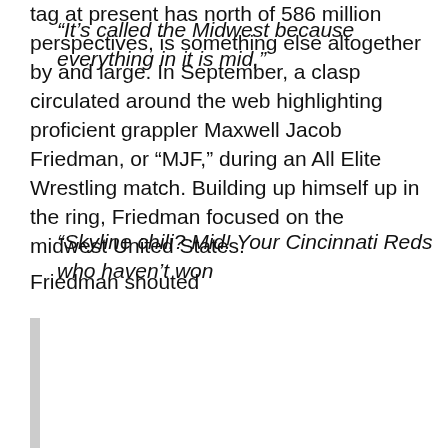tag at present has north of 586 million perspectives, is something else altogether by and large. In September, a clasp circulated around the web highlighting proficient grappler Maxwell Jacob Friedman, or “MJF,” during an All Elite Wrestling match. Building up himself up in the ring, Friedman focused on the midwest United States.
Friedman shouted
“It’s called the Midwest because everything in it is mid,”
“Skyline chili? Mid! Your Cincinnati Reds who haven’t won